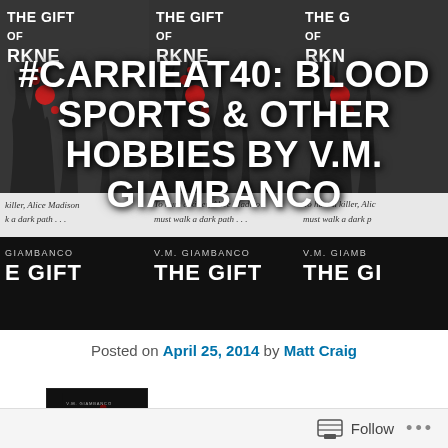[Figure (photo): Repeating book cover grid showing 'The Gift of Darkness' by V.M. Giambanco with dark wintery scene, blood splatters, and text 'To hunt a killer, Alice Madison must walk a dark path...']
#CARRIEAT40: BLOOD SPORTS & OTHER HOBBIES BY V.M. GIAMBANCO
Posted on April 25, 2014 by Matt Craig
[Figure (photo): Small book cover thumbnail of 'The Gift of Darkness' by V.M. Giambanco, black background with white text]